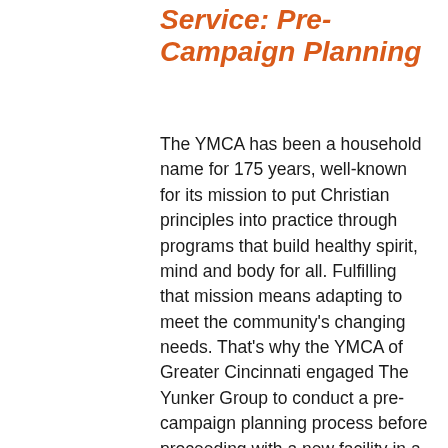Service: Pre-Campaign Planning
The YMCA has been a household name for 175 years, well-known for its mission to put Christian principles into practice through programs that build healthy spirit, mind and body for all. Fulfilling that mission means adapting to meet the community's changing needs. That's why the YMCA of Greater Cincinnati engaged The Yunker Group to conduct a pre-campaign planning process before proceeding with a new facility in a rapidly growing area of southern Boone County, Kentucky. What the YMCA learned guided its immediate plans while opening doors to new philanthropic opportunities for the future.